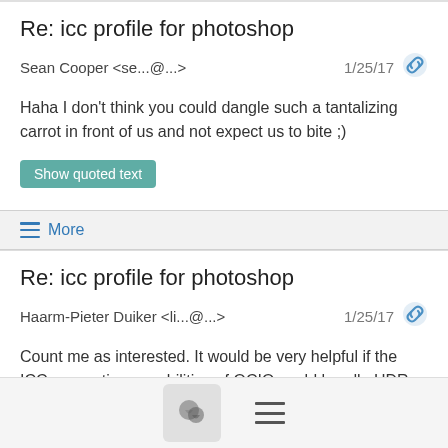Re: icc profile for photoshop
Sean Cooper <se...@...>  1/25/17
Haha I don't think you could dangle such a tantalizing carrot in front of us and not expect us to bite ;)
Show quoted text
≡ More
Re: icc profile for photoshop
Haarm-Pieter Duiker <li...@...>  1/25/17
Count me as interested. It would be very helpful if the ICC generation capabilities of OCIO could handle HDR input ranges and wide color gamuts.